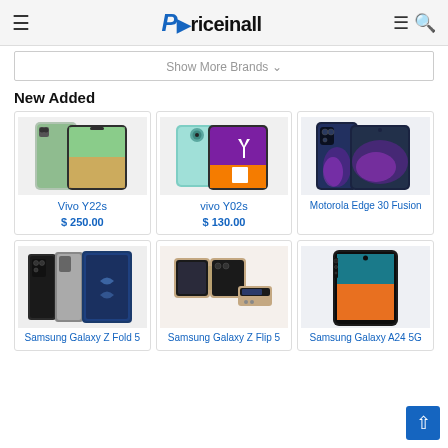Priceinall
Show More Brands ⌄
New Added
[Figure (photo): Vivo Y22s smartphone product image]
Vivo Y22s
$ 250.00
[Figure (photo): vivo Y02s smartphone product image]
vivo Y02s
$ 130.00
[Figure (photo): Motorola Edge 30 Fusion smartphone product image]
Motorola Edge 30 Fusion
[Figure (photo): Samsung Galaxy Z Fold 5 smartphone product image]
Samsung Galaxy Z Fold 5
[Figure (photo): Samsung Galaxy Z Flip 5 smartphone product image]
Samsung Galaxy Z Flip 5
[Figure (photo): Samsung Galaxy A24 5G smartphone product image]
Samsung Galaxy A24 5G